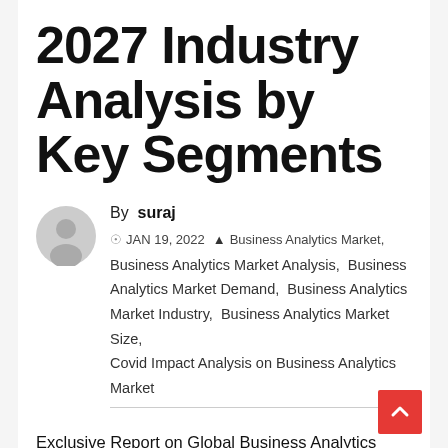2027 Industry Analysis by Key Segments
By suraj
JAN 19, 2022 — Business Analytics Market, Business Analytics Market Analysis, Business Analytics Market Demand, Business Analytics Market Industry, Business Analytics Market Size, Covid Impact Analysis on Business Analytics Market
Exclusive Report on Global Business Analytics Market by In4Research provides key